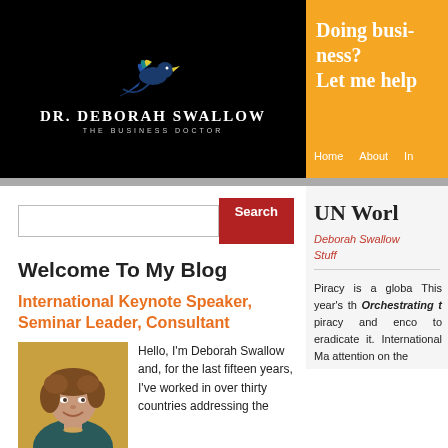[Figure (logo): Dr. Deborah Swallow logo with bird illustration on black background]
Doing business? Let me help
Home   About   In
Welcome To My Blog
International Keynote Speaker, Seminar Leader, Consultant
[Figure (photo): Photo of Deborah Swallow, a woman with curly hair smiling]
Hello, I'm Deborah Swallow and, for the last fifteen years, I've worked in over thirty countries addressing the
UN Worl
Deborah Swallow Stuff
Piracy is a globa This year's th Orchestrating t piracy and enco to eradicate it. International Ma attention on the